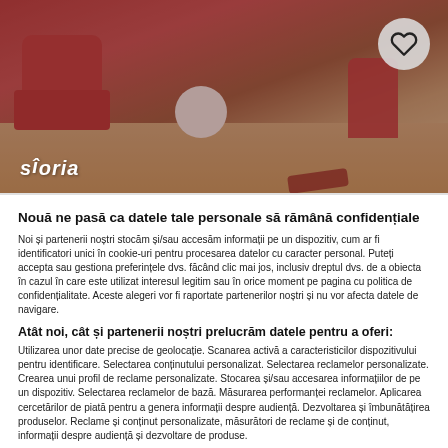[Figure (photo): Room interior with red/coral armchairs, small round white table, wooden floor. Storia logo in lower left. Heart/favorite button in upper right. Darkened overlay on image.]
Nouă ne pasă ca datele tale personale să rămână confidențiale
Noi și partenerii noștri stocăm și/sau accesăm informații pe un dispozitiv, cum ar fi identificatori unici în cookie-uri pentru procesarea datelor cu caracter personal. Puteți accepta sau gestiona preferințele dvs. făcând clic mai jos, inclusiv dreptul dvs. de a obiecta în cazul în care este utilizat interesul legitim sau în orice moment pe pagina cu politica de confidențialitate. Aceste alegeri vor fi raportate partenerilor noștri și nu vor afecta datele de navigare.
Atât noi, cât și partenerii noștri prelucrăm datele pentru a oferi:
Utilizarea unor date precise de geolocație. Scanarea activă a caracteristicilor dispozitivului pentru identificare. Selectarea conținutului personalizat. Selectarea reclamelor personalizate. Crearea unui profil de reclame personalizate. Stocarea și/sau accesarea informațiilor de pe un dispozitiv. Selectarea reclamelor de bază. Măsurarea performanței reclamelor. Aplicarea cercetărilor de piată pentru a genera informații despre audiență. Dezvoltarea și îmbunătățirea produselor. Reclame și conținut personalizate, măsurători de reclame și de conținut, informații despre audiență și dezvoltare de produse.
Listă parteneri (furnizori)
Vizualizați scopuri
Accept